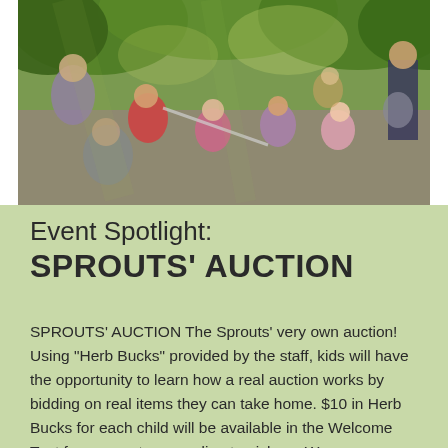[Figure (photo): Outdoor scene with children and adults sitting in a circle on pavement under trees, appearing to be at a park or outdoor event. Children are engaged in an activity.]
Event Spotlight:
SPROUTS' AUCTION
SPROUTS' AUCTION The Sprouts' very own auction! Using "Herb Bucks" provided by the staff, kids will have the opportunity to learn how a real auction works by bidding on real items they can take home. $10 in Herb Bucks for each child will be available in the Welcome Tent for a parent or guardian to pick up. We encourage you to use these Herb